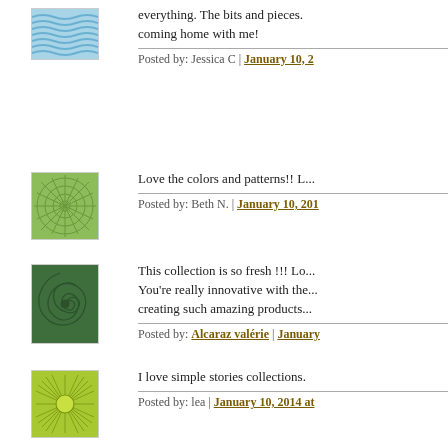[Figure (illustration): Blue wavy lines patterned avatar square]
everything. The bits and pieces. coming home with me!
Posted by: Jessica C | January 10, 2...
[Figure (illustration): Green starburst/mandala pattern avatar square]
Love the colors and patterns!! L...
Posted by: Beth N. | January 10, 201...
[Figure (illustration): Dark green spiral/swirl pattern avatar square]
This collection is so fresh !!! Lo... You're really innovative with the... creating such amazing products...
Posted by: Alcaraz valérie | January...
[Figure (illustration): Lime green sunburst with circular center avatar square]
I love simple stories collections.
Posted by: lea | January 10, 2014 at...
[Figure (illustration): Light blue floral/spirograph pattern with dark center avatar square]
Love the recipe album, and the c...
Posted by: Kota Venter | January 10...